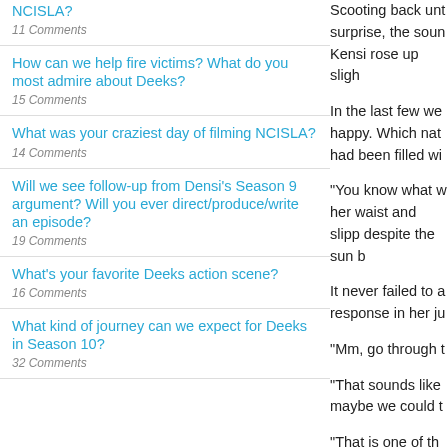NCISLA? 11 Comments
How can we help fire victims? What do you most admire about Deeks? 15 Comments
What was your craziest day of filming NCISLA? 14 Comments
Will we see follow-up from Densi's Season 9 argument? Will you ever direct/produce/write an episode? 19 Comments
What's your favorite Deeks action scene? 16 Comments
What kind of journey can we expect for Deeks in Season 10? 32 Comments
Scooting back unt surprise, the soun Kensi rose up sligh
In the last few we happy. Which nat had been filled wi
"You know what w her waist and slipp despite the sun b
It never failed to a response in her ju
"Mm, go through t
"That sounds like maybe we could t
"That is one of th